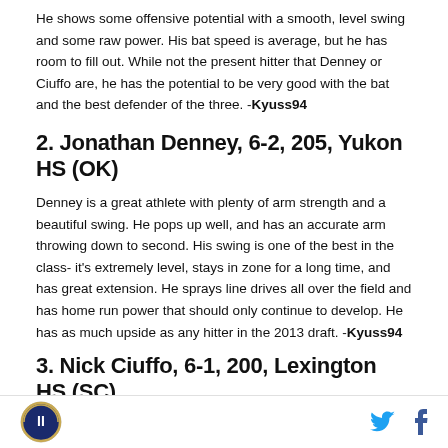He shows some offensive potential with a smooth, level swing and some raw power. His bat speed is average, but he has room to fill out. While not the present hitter that Denney or Ciuffo are, he has the potential to be very good with the bat and the best defender of the three. -Kyuss94
2. Jonathan Denney, 6-2, 205, Yukon HS (OK)
Denney is a great athlete with plenty of arm strength and a beautiful swing. He pops up well, and has an accurate arm throwing down to second. His swing is one of the best in the class- it's extremely level, stays in zone for a long time, and has great extension. He sprays line drives all over the field and has home run power that should only continue to develop. He has as much upside as any hitter in the 2013 draft. -Kyuss94
3. Nick Ciuffo, 6-1, 200, Lexington HS (SC)
Ciuffo has a quick trigger left-handed swing that generates left and backspin...
[logo] [twitter] [facebook]